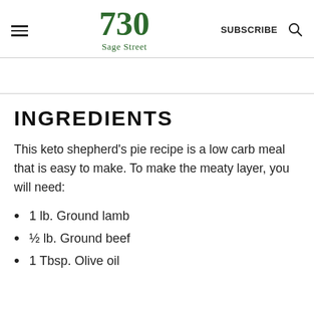730 Sage Street | SUBSCRIBE
INGREDIENTS
This keto shepherd's pie recipe is a low carb meal that is easy to make. To make the meaty layer, you will need:
1 lb. Ground lamb
½ lb. Ground beef
1 Tbsp. Olive oil